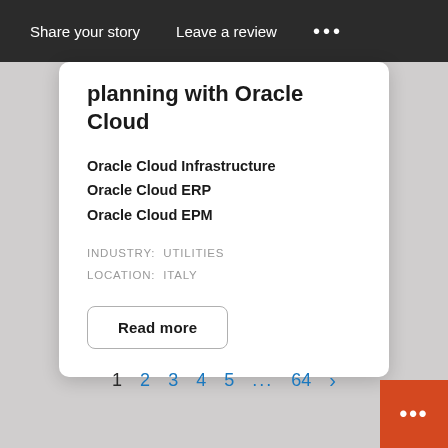Share your story   Leave a review   ...
planning with Oracle Cloud
Oracle Cloud Infrastructure
Oracle Cloud ERP
Oracle Cloud EPM
INDUSTRY:  UTILITIES
LOCATION:  ITALY
Read more
1  2  3  4  5  ...  64  >